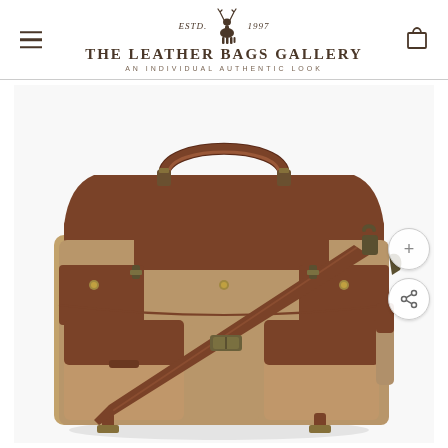THE LEATHER BAGS GALLERY — AN INDIVIDUAL AUTHENTIC LOOK — ESTD. 1997
[Figure (photo): A tan/khaki canvas and brown leather messenger bag with shoulder strap, multiple front pockets with leather flap closures and brass hardware, displayed on white background.]